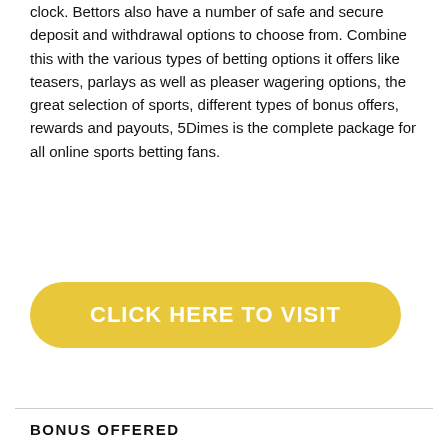clock. Bettors also have a number of safe and secure deposit and withdrawal options to choose from. Combine this with the various types of betting options it offers like teasers, parlays as well as pleaser wagering options, the great selection of sports, different types of bonus offers, rewards and payouts, 5Dimes is the complete package for all online sports betting fans.
[Figure (other): Yellow rounded rectangle button with white bold text reading 'CLICK HERE TO VISIT']
BONUS OFFERED
5Dimes sportsbook offers various bonuses and rewards to new and regular bettors. New customers can get a nice deposit bonus of 50% if they deposit between $100 and $400, therefore, they can get up to $200 in bonuses. If they deposit more than $400, they will get an extra 20% bonus up to